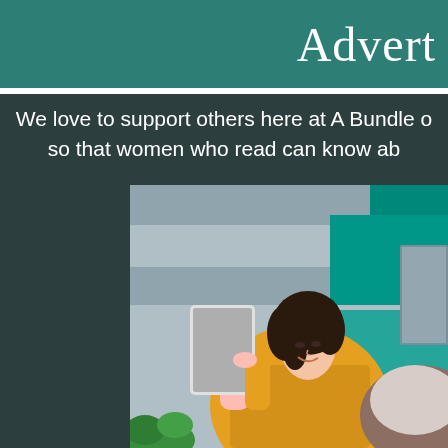Advert
We love to support others here at A Bundle o so that women who read can know ab
[Figure (photo): A young woman with short dark hair sitting outdoors, smiling while reading on a tablet device. She is wearing a mustard/yellow jacket and is seated in a wicker chair with a cushion. The background shows a modern building facade with teal/green panels.]